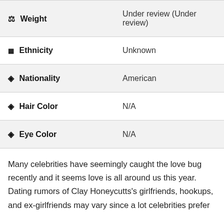| Attribute | Value |
| --- | --- |
| ⚖ Weight | Under review (Under review) |
| ▦ Ethnicity | Unknown |
| ◈ Nationality | American |
| ◈ Hair Color | N/A |
| ◈ Eye Color | N/A |
Many celebrities have seemingly caught the love bug recently and it seems love is all around us this year. Dating rumors of Clay Honeycutts's girlfriends, hookups, and ex-girlfriends may vary since a lot celebrities prefer